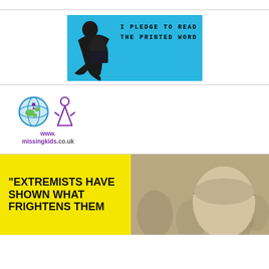[Figure (illustration): Blue banner with silhouette of a child reading, with text 'I PLEDGE TO READ THE PRINTED WORD' in typewriter font]
[Figure (logo): missingkids.co.uk logo with globe icon and child figure, purple text reading www.missingkids.co.uk]
[Figure (photo): Amnesty International style image showing yellow sign with bold black text reading 'EXTREMISTS HAVE SHOWN WHAT FRIGHTENS THEM' overlaid on sepia-toned crowd photo with person's head visible]